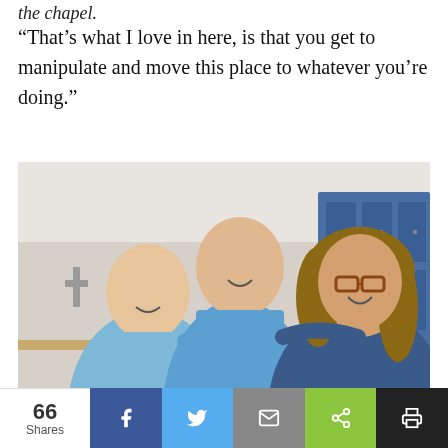the chapel.
“That’s what I love in here, is that you get to manipulate and move this place to whatever you’re doing.”
[Figure (photo): Photo of two young boys and a woman smiling together indoors. Blue lockers visible in background along with a cross on the wall.]
66 Shares | Facebook share | Twitter share | Email share | Share | Print